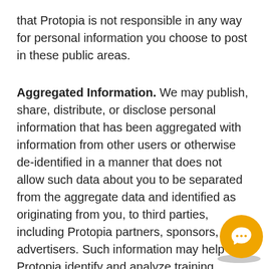that Protopia is not responsible in any way for personal information you choose to post in these public areas.
Aggregated Information. We may publish, share, distribute, or disclose personal information that has been aggregated with information from other users or otherwise de-identified in a manner that does not allow such data about you to be separated from the aggregate data and identified as originating from you, to third parties, including Protopia partners, sponsors, and advertisers. Such information may help Protopia identify and analyze training, demographic, and psychographic trends and information, and report to third parties how many people saw, visited, or clicked on certain content, areas of the Services, ads, or other materials. We may also use such data for research purposes.